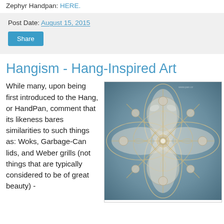Zephyr Handpan: HERE.
Post Date: August 15, 2015
Share
Hangism - Hang-Inspired Art
While many, upon being first introduced to the Hang, or HandPan, comment that its likeness bares similarities to such things as: Woks, Garbage-Can lids, and Weber grills (not things that are typically considered to be of great beauty) -
[Figure (photo): Close-up artistic photograph of a HandPan drum showing a mandala-like symmetric pattern of the metal tone fields, with golden and silver reflections on a steel-blue surface.]